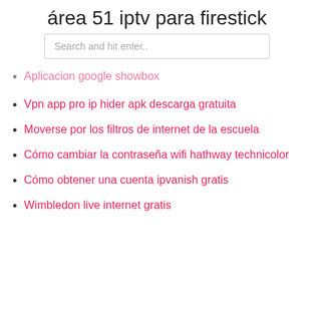área 51 iptv para firestick
Search and hit enter..
Aplicacion google showbox
Vpn app pro ip hider apk descarga gratuita
Moverse por los filtros de internet de la escuela
Cómo cambiar la contraseña wifi hathway technicolor
Cómo obtener una cuenta ipvanish gratis
Wimbledon live internet gratis